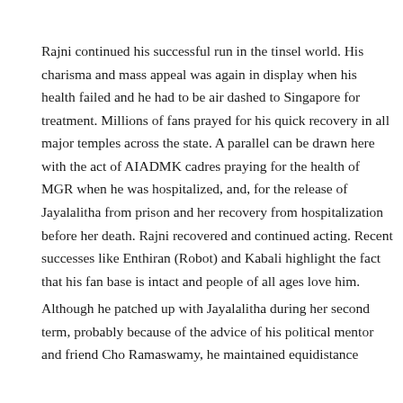Rajni continued his successful run in the tinsel world. His charisma and mass appeal was again in display when his health failed and he had to be air dashed to Singapore for treatment. Millions of fans prayed for his quick recovery in all major temples across the state. A parallel can be drawn here with the act of AIADMK cadres praying for the health of MGR when he was hospitalized, and, for the release of Jayalalitha from prison and her recovery from hospitalization before her death. Rajni recovered and continued acting. Recent successes like Enthiran (Robot) and Kabali highlight the fact that his fan base is intact and people of all ages love him.
Although he patched up with Jayalalitha during her second term, probably because of the advice of his political mentor and friend Cho Ramaswamy, he maintained equidistance